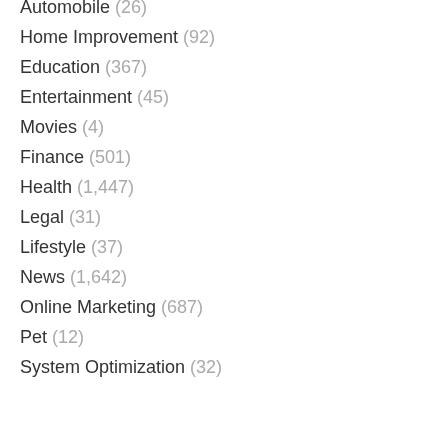Automobile (26)
Home Improvement (92)
Education (367)
Entertainment (45)
Movies (4)
Finance (501)
Health (1,447)
Legal (31)
Lifestyle (37)
News (1,642)
Online Marketing (687)
Pet (12)
System Optimization (32)